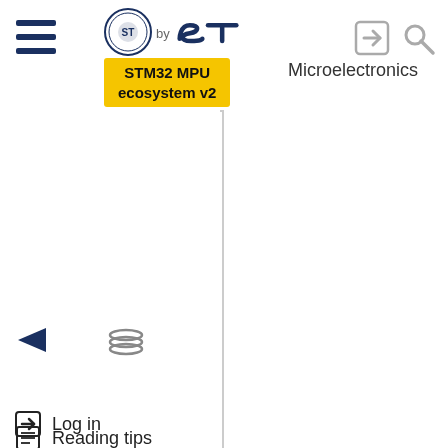[Figure (screenshot): Website navigation screenshot showing STM32 MPU ecosystem v2 wiki page with hamburger menu, ST logo, tooltip, login icon, search icon, navigation links (Log in, Main page, Glossary, Reading tips, Special pages), privacy/cookie/terms links, ST logo, and social media icons (Instagram, LinkedIn, YouTube)]
STM32 MPU ecosystem v2
Microelectronics
Privacy Portal
Manage cookies
Terms of use
Log in
Main page
Glossary
Reading tips
Special pages